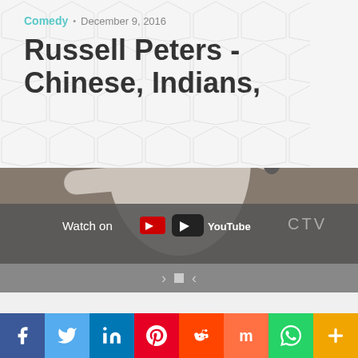[Figure (screenshot): YouTube video thumbnail showing Russell Peters performing stand-up comedy in a white shirt, holding a microphone. A YouTube play button overlay is shown in the center. Bottom left shows 'Watch on YouTube' with YouTube logo. Bottom right shows 'CTV' watermark. Video is in grayscale/muted tones.]
Comedy • December 9, 2016
Russell Peters - Chinese, Indians,